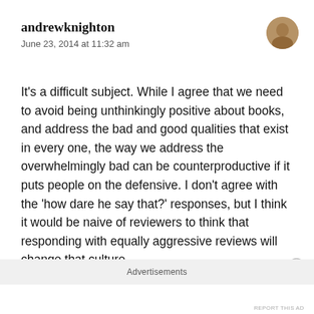andrewknighton
June 23, 2014 at 11:32 am
[Figure (photo): Avatar photo of andrewknighton, circular crop showing a bald man]
It’s a difficult subject. While I agree that we need to avoid being unthinkingly positive about books, and address the bad and good qualities that exist in every one, the way we address the overwhelmingly bad can be counterproductive if it puts people on the defensive. I don’t agree with the ‘how dare he say that?’ responses, but I think it would be naive of reviewers to think that responding with equally aggressive reviews will change that culture.
Advertisements